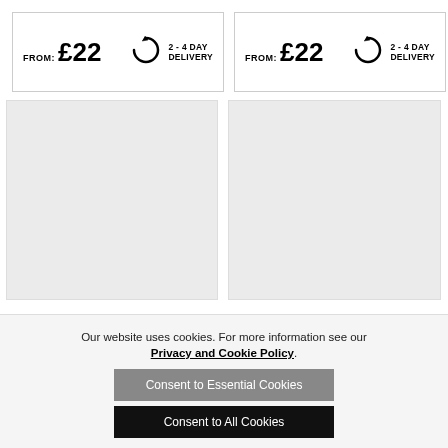[Figure (screenshot): Product card top-left showing FROM: £22 price and 2-4 DAY DELIVERY badge]
[Figure (screenshot): Product card top-right showing FROM: £22 price and 2-4 DAY DELIVERY badge]
[Figure (photo): Left product image placeholder (light grey box)]
[Figure (photo): Right product image placeholder (light grey box)]
Our website uses cookies. For more information see our Privacy and Cookie Policy.
Consent to Essential Cookies
Consent to All Cookies